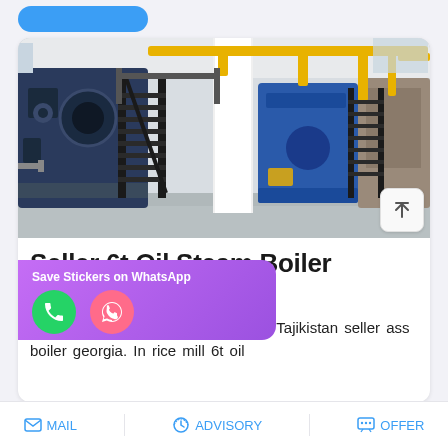[Figure (photo): Industrial boiler room with multiple large steam boilers, black metal staircases, yellow pipes overhead, white structural columns, and industrial equipment in a factory setting.]
Seller 6t Oil Steam Boiler Tajikistan
6t Oil Steam Boiler Industrial Price Tajikistan seller ass boiler georgia. In rice mill 6t oil
MAIL   ADVISORY   OFFER